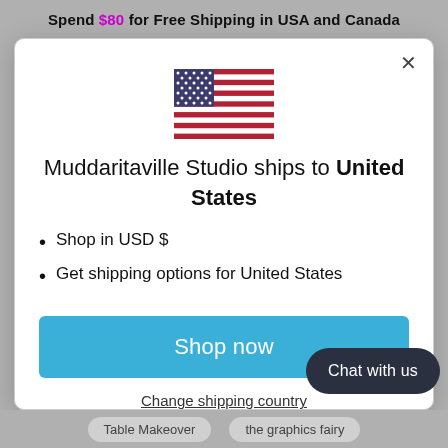Spend $80 for Free Shipping in USA and Canada
[Figure (illustration): United States flag emoji/icon displayed centered in modal]
Muddaritaville Studio ships to United States
Shop in USD $
Get shipping options for United States
Shop now
Change shipping country
Chat with us
Table Makeover    the graphics fairy